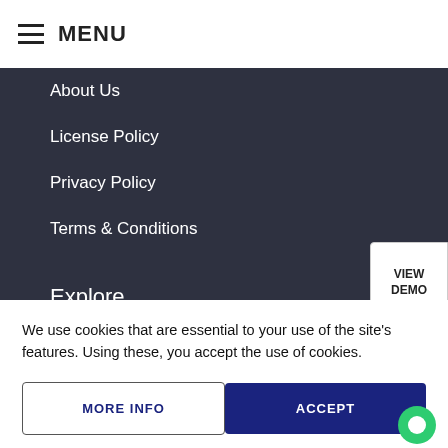≡ MENU
About Us
License Policy
Privacy Policy
Terms & Conditions
Explore
Contact us
Mobile App Builder
We use cookies that are essential to your use of the site's features. Using these, you accept the use of cookies.
MORE INFO
ACCEPT
Prestashop